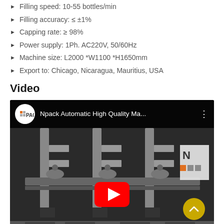Filling speed: 10-55 bottles/min
Filling accuracy: ≤ ±1%
Capping rate: ≥ 98%
Power supply: 1Ph. AC220V, 50/60Hz
Machine size: L2000 *W1100 *H1650mm
Export to: Chicago, Nicaragua, Mauritius, USA
Video
[Figure (screenshot): YouTube video thumbnail showing Npack Automatic High Quality Ma... with industrial filling machine machinery visible and a red YouTube play button in the center]